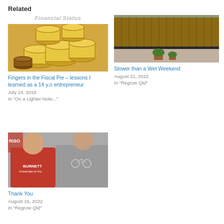Related
[Figure (photo): Partial article header text 'Financial Status']
[Figure (photo): Stack of gold chocolate coins with one unwrapped brown coin]
Fingers in the Fiscal Pie – lessons I learned as a 14 y.o entrepreneur
July 14, 2018
In "On a Lighter Note..."
[Figure (photo): Garden scene with wooden fence, gravel, and potted plants]
Slower than a Wet Weekend
August 21, 2022
In "Regrow Qld"
[Figure (photo): Two people wearing t-shirts, one red BURNETT shirt, one grey with bicycle graphic]
Thank You
August 16, 2022
In "Regrow Qld"